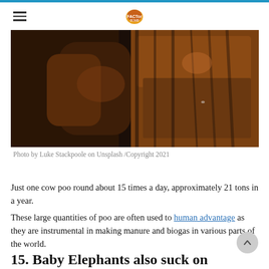[hamburger menu] [logo]
[Figure (photo): Dark close-up photograph of a cow or large animal, showing textured fur/hide in dark brown and black tones]
Photo by Luke Stackpoole on Unsplash /Copyright 2021
Just one cow poo round about 15 times a day, approximately 21 tons in a year.
These large quantities of poo are often used to human advantage as they are instrumental in making manure and biogas in various parts of the world.
15. Baby Elephants also suck on